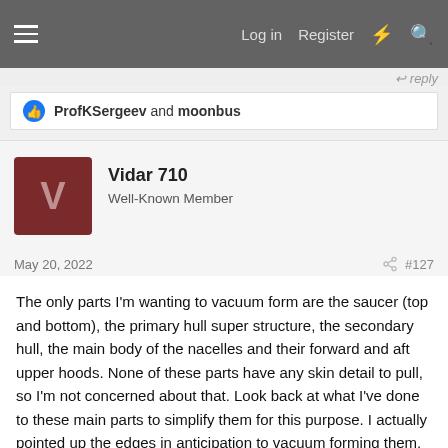Log in  Register
ProfKSergeev and moonbus
Vidar 710
Well-Known Member
May 20, 2022  #127
The only parts I'm wanting to vacuum form are the saucer (top and bottom), the primary hull super structure, the secondary hull, the main body of the nacelles and their forward and aft upper hoods. None of these parts have any skin detail to pull, so I'm not concerned about that. Look back at what I've done to these main parts to simplify them for this purpose. I actually pointed up the edges in anticipation to vacuum forming them.

My options will be to pull down into the molds or make durable castings and use them as bucks. We are talking about very